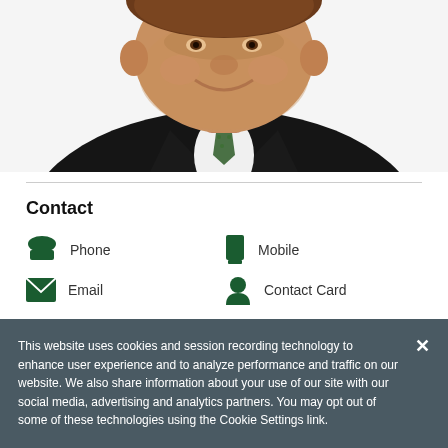[Figure (photo): Headshot of a middle-aged man in a dark suit and green patterned tie, smiling, cropped from shoulders up.]
Contact
Phone
Mobile
Email
Contact Card
This website uses cookies and session recording technology to enhance user experience and to analyze performance and traffic on our website. We also share information about your use of our site with our social media, advertising and analytics partners. You may opt out of some of these technologies using the Cookie Settings link.